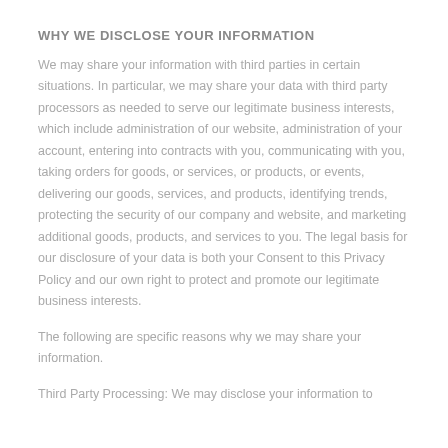WHY WE DISCLOSE YOUR INFORMATION
We may share your information with third parties in certain situations. In particular, we may share your data with third party processors as needed to serve our legitimate business interests, which include administration of our website, administration of your account, entering into contracts with you, communicating with you, taking orders for goods, or services, or products, or events, delivering our goods, services, and products, identifying trends, protecting the security of our company and website, and marketing additional goods, products, and services to you. The legal basis for our disclosure of your data is both your Consent to this Privacy Policy and our own right to protect and promote our legitimate business interests.
The following are specific reasons why we may share your information.
Third Party Processing: We may disclose your information to